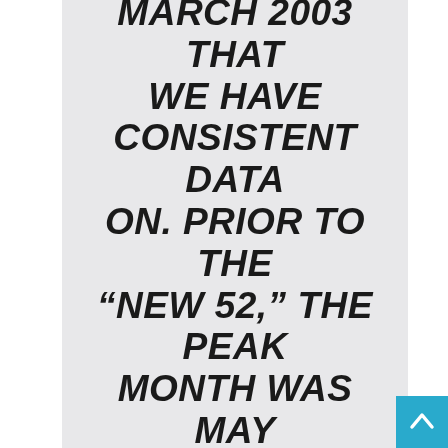MARCH 2003 THAT WE HAVE CONSISTENT DATA ON. PRIOR TO THE “NEW 52,” THE PEAK MONTH WAS MAY 2006, WHICH HAD THE LAUNCH OF THE WEEKLY 52 SERIES AND THE CONCLUSION OF THE HIGH-PROFILE MINI INFINITE CRISIS, WITH AN ESTIMATED 59,505 UNITS SOLD OF THE AVERAGE DC